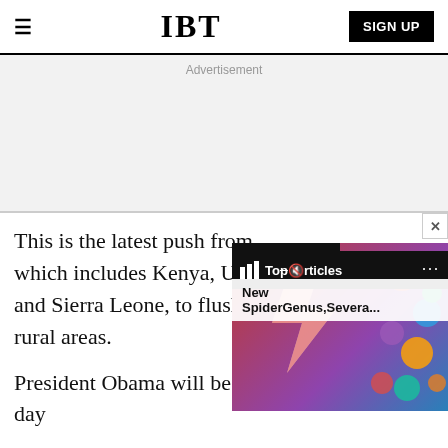IBT  SIGN UP
Advertisement
This is the latest push from which includes Kenya, Uganda and Sierra Leone, to flush t rural areas.
[Figure (screenshot): IBT Top Articles overlay widget showing 'New SpiderGenus,Severa...' with a David Bowie-style colorful background image and close button]
President Obama will be addressing the three-day